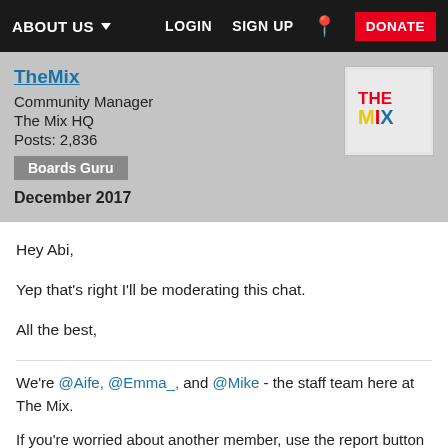ABOUT US  LOGIN  SIGN UP  DONATE
TheMix
Community Manager
The Mix HQ
Posts: 2,836
Boards Guru
December 2017
Hey Abi,

Yep that's right I'll be moderating this chat.

All the best,

- Aife
We're @Aife, @Emma_, and @Mike - the staff team here at The Mix.

If you're worried about another member, use the report button to make sure a moderator sees it ASAP.

Our private messages are monitored Monday - Sunday (9.30 am - 5.30 pm) and we aim to reply within 24 hours. We have a great team of moderators looking after the community outside of those hours to check